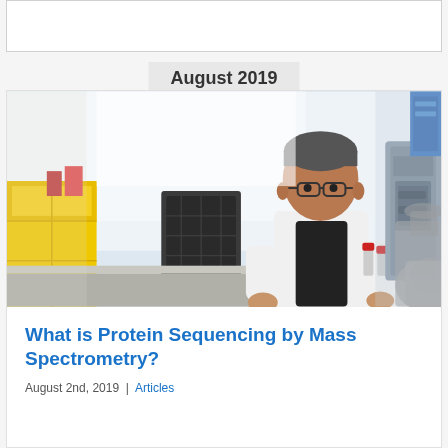[Figure (photo): Top white box area, partially visible, with border]
August 2019
[Figure (photo): Laboratory photo showing a scientist in a white lab coat with glasses, working at a lab bench with scientific equipment including what appears to be a mass spectrometry instrument. Blurred lab equipment visible in background and foreground. Lab features yellow storage units and blue equipment.]
What is Protein Sequencing by Mass Spectrometry?
August 2nd, 2019 | Articles